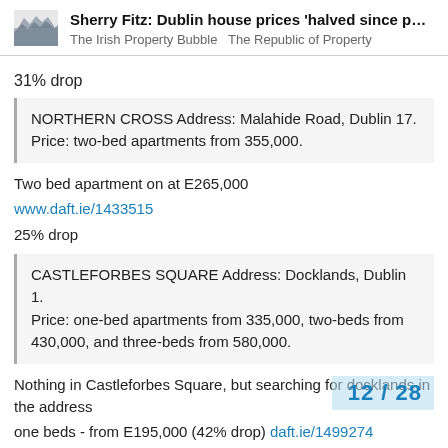Sherry Fitz: Dublin house prices 'halved since p... | The Irish Property Bubble  The Republic of Property
31% drop
NORTHERN CROSS Address: Malahide Road, Dublin 17. Price: two-bed apartments from 355,000.
Two bed apartment on at E265,000
www.daft.ie/1433515
25% drop
CASTLEFORBES SQUARE Address: Docklands, Dublin 1. Price: one-bed apartments from 335,000, two-beds from 430,000, and three-beds from 580,000.
Nothing in Castleforbes Square, but searching for docklands in the address
one beds - from E195,000 (42% drop) daft.ie/1499274
two beds -
12 / 28